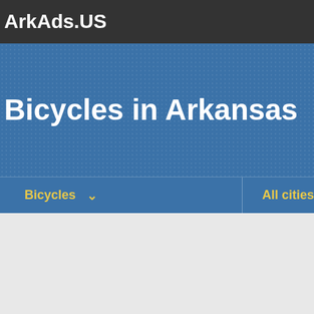ArkAds.US
Bicycles in Arkansas
Bicycles ∨ All cities